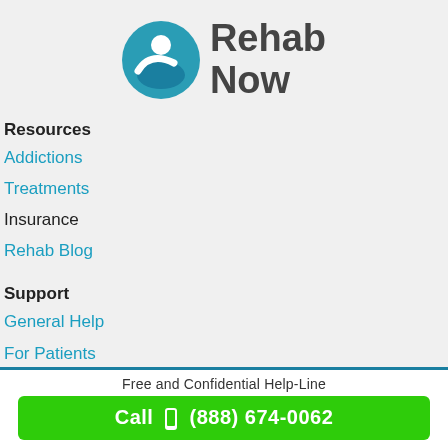[Figure (logo): Rehab Now logo with teal circular icon and bold dark gray text reading Rehab Now]
Resources
Addictions
Treatments
Insurance
Rehab Blog
Support
General Help
For Patients
For Centers
Contact Us
Free and Confidential Help-Line
Call  (888) 674-0062